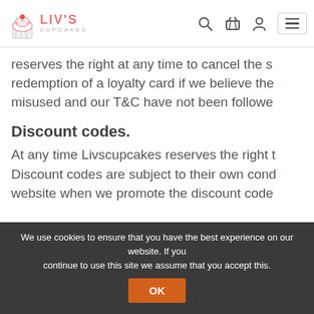Liv's Cupcakes — navigation bar with logo, search, basket, account, and hamburger menu
reserves the right at any time to cancel the sale/redemption of a loyalty card if we believe the card has been misused and our T&C have not been followed.
Discount codes.
At any time Livscupcakes reserves the right to... Discount codes are subject to their own conditions which will be displayed on the website when we promote the discount code.
We use cookies to ensure that you have the best experience on our website. If you continue to use this site we assume that you accept this.